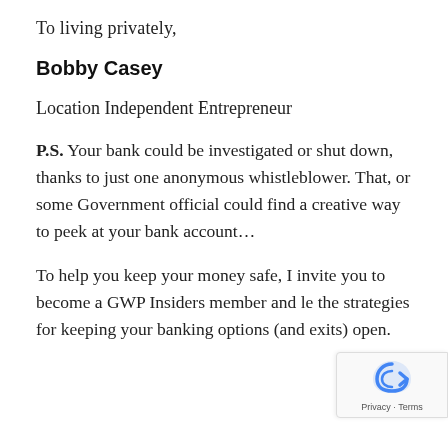To living privately,
Bobby Casey
Location Independent Entrepreneur
P.S. Your bank could be investigated or shut down, thanks to just one anonymous whistleblower. That, or some Government official could find a creative way to peek at your bank account…
To help you keep your money safe, I invite you to become a GWP Insiders member and le the strategies for keeping your banking options (and exits) open.